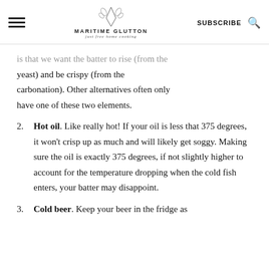MARITIME GLUTTON just free home cooking | SUBSCRIBE
is that we want the batter to rise (from the yeast) and be crispy (from the carbonation). Other alternatives often only have one of these two elements.
2. Hot oil. Like really hot! If your oil is less that 375 degrees, it won't crisp up as much and will likely get soggy. Making sure the oil is exactly 375 degrees, if not slightly higher to account for the temperature dropping when the cold fish enters, your batter may disappoint.
3. Cold beer. Keep your beer in the fridge as